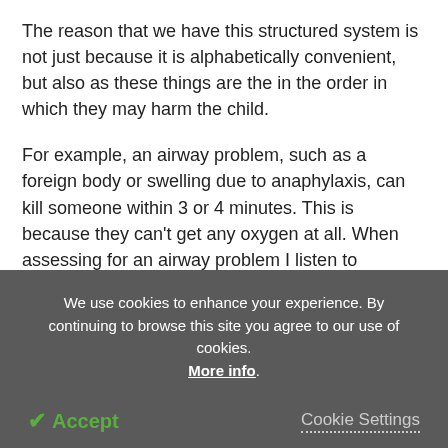The reason that we have this structured system is not just because it is alphabetically convenient, but also as these things are the in the order in which they may harm the child.
For example, an airway problem, such as a foreign body or swelling due to anaphylaxis, can kill someone within 3 or 4 minutes. This is because they can't get any oxygen at all. When assessing for an airway problem I listen to whether they are breathing properly and whether there are noises when they breathe, which
We use cookies to enhance your experience. By continuing to browse this site you agree to our use of cookies. More info.
Accept
Cookie Settings